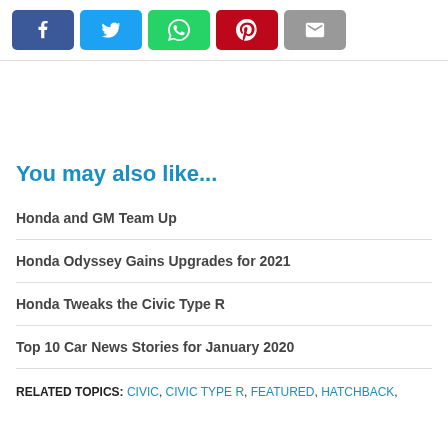[Figure (other): Social sharing buttons row: Facebook (blue), Twitter (light blue), WhatsApp (green), Pinterest (red), Email (gray)]
You may also like...
Honda and GM Team Up
Honda Odyssey Gains Upgrades for 2021
Honda Tweaks the Civic Type R
Top 10 Car News Stories for January 2020
RELATED TOPICS: CIVIC, CIVIC TYPE R, FEATURED, HATCHBACK,